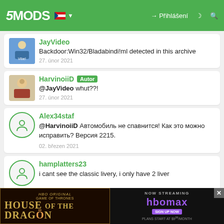5MODS — Přihlášení
JayVideo
Backdoor:Win32/Bladabindi!ml detected in this archive
27. únor 2021
HarvinoiiD Autor
@JayVideo whut??!
27. únor 2021
Alex34staf
@HarvinoiiD Автомобиль не спавнится! Как это можно исправить? Версия 2215.
02. březen 2021
hamplatters23
i cant see the classic livery, i only have 2 liveries with
[Figure (screenshot): HBO Original Game of Thrones House of the Dragon advertisement banner — Now Streaming on HBO Max, Sign Up Now, Plans Start at $9.99/month]